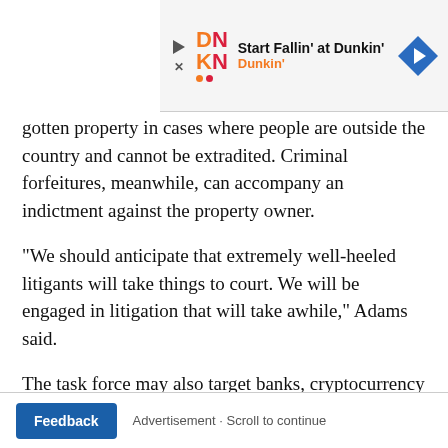[Figure (screenshot): Advertisement banner for Dunkin' — 'Start Fallin' at Dunkin'' with Dunkin' brand logo and navigation arrow icon]
gotten property in cases where people are outside the country and cannot be extradited. Criminal forfeitures, meanwhile, can accompany an indictment against the property owner.
"We should anticipate that extremely well-heeled litigants will take things to court. We will be engaged in litigation that will take awhile," Adams said.
The task force may also target banks, cryptocurrency exchanges or other financial institutions who help sanctions violators by turning a blind eye towards suspicious transactions.
Feedback   Advertisement · Scroll to continue